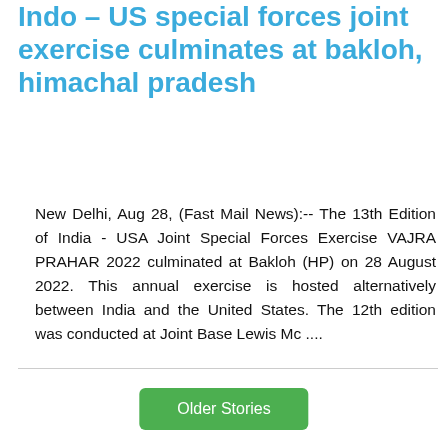Indo – US special forces joint exercise culminates at bakloh, himachal pradesh
New Delhi, Aug 28, (Fast Mail News):-- The 13th Edition of India - USA Joint Special Forces Exercise VAJRA PRAHAR 2022 culminated at Bakloh (HP) on 28 August 2022. This annual exercise is hosted alternatively between India and the United States. The 12th edition was conducted at Joint Base Lewis Mc ....
Older Stories